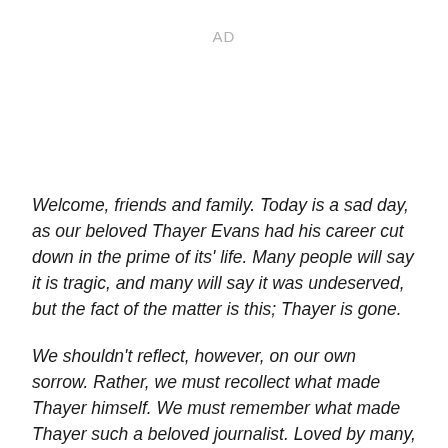AD
Welcome, friends and family. Today is a sad day, as our beloved Thayer Evans had his career cut down in the prime of its' life. Many people will say it is tragic, and many will say it was undeserved, but the fact of the matter is this; Thayer is gone.
We shouldn't reflect, however, on our own sorrow. Rather, we must recollect what made Thayer himself. We must remember what made Thayer such a beloved journalist. Loved by many, hated by most, Thayer